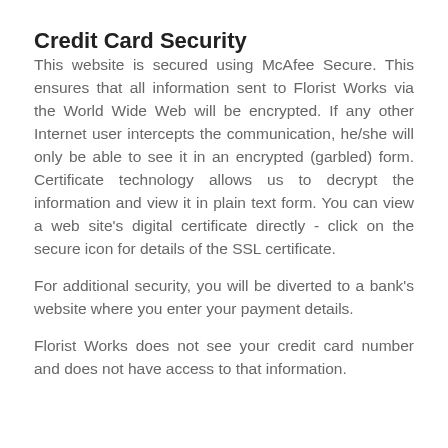Credit Card Security
This website is secured using McAfee Secure. This ensures that all information sent to Florist Works via the World Wide Web will be encrypted. If any other Internet user intercepts the communication, he/she will only be able to see it in an encrypted (garbled) form. Certificate technology allows us to decrypt the information and view it in plain text form. You can view a web site's digital certificate directly - click on the secure icon for details of the SSL certificate.
For additional security, you will be diverted to a bank's website where you enter your payment details.
Florist Works does not see your credit card number and does not have access to that information.